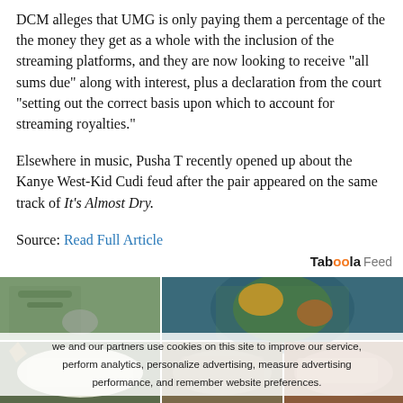DCM alleges that UMG is only paying them a percentage of the the money they get as a whole with the inclusion of the streaming platforms, and they are now looking to receive “all sums due” along with interest, plus a declaration from the court “setting out the correct basis upon which to account for streaming royalties.”
Elsewhere in music, Pusha T recently opened up about the Kanye West-Kid Cudi feud after the pair appeared on the same track of It’s Almost Dry.
Source: Read Full Article
[Figure (photo): Taboola Feed advertisement section with food photos arranged in a 2x3 grid, with a cookie consent overlay banner partially visible]